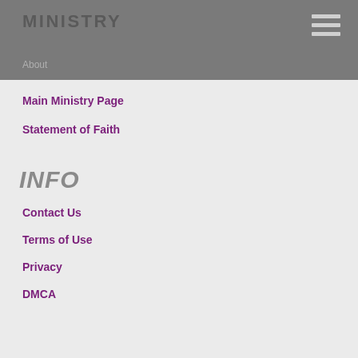MINISTRY
About
Main Ministry Page
Statement of Faith
INFO
Contact Us
Terms of Use
Privacy
DMCA